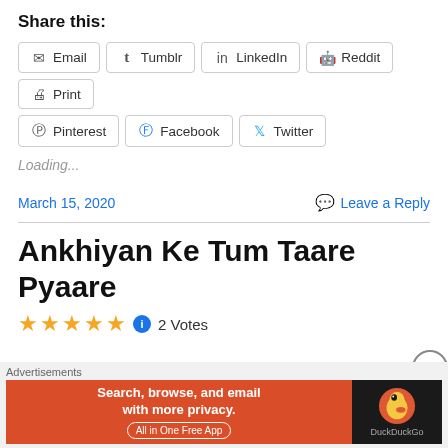Share this:
Email  Tumblr  LinkedIn  Reddit  Print  Pinterest  Facebook  Twitter
Loading...
March 15, 2020
Leave a Reply
Ankhiyan Ke Tum Taare Pyaare
★★★★★  2 Votes
[Figure (infographic): DuckDuckGo advertisement banner: orange left panel with text 'Search, browse, and email with more privacy. All in One Free App' and dark right panel with DuckDuckGo logo and text 'DuckDuckGo']